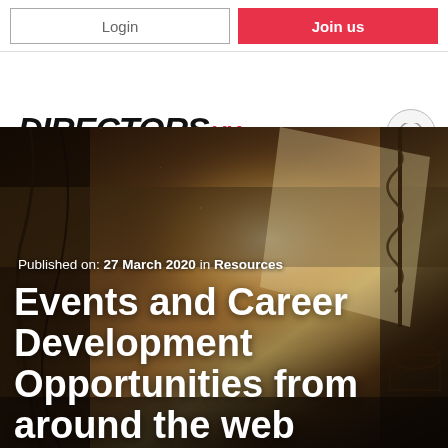Login | Join us
[Figure (logo): Directors UK logo with black italic bold text 'DIRECTORS' and red superscript 'UK', with hamburger menu icon circle on the right]
[Figure (photo): Sepia-toned photo of film/studio equipment including cables, lights, and a spiral lamp stand, used as hero background image]
Published on: 27 March 2020 in Resources
Events and Career Development Opportunities from around the web